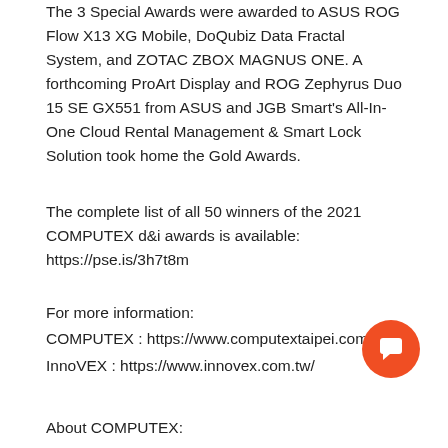The 3 Special Awards were awarded to ASUS ROG Flow X13 XG Mobile, DoQubiz Data Fractal System, and ZOTAC ZBOX MAGNUS ONE. A forthcoming ProArt Display and ROG Zephyrus Duo 15 SE GX551 from ASUS and JGB Smart's All-In-One Cloud Rental Management & Smart Lock Solution took home the Gold Awards.
The complete list of all 50 winners of the 2021 COMPUTEX d&i awards is available: https://pse.is/3h7t8m
For more information:
COMPUTEX : https://www.computextaipei.com.tw/
InnoVEX : https://www.innovex.com.tw/
About COMPUTEX: